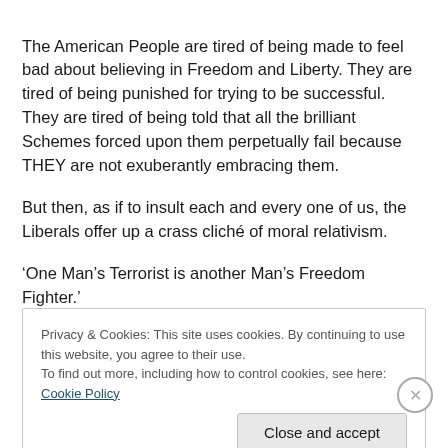The American People are tired of being made to feel bad about believing in Freedom and Liberty. They are tired of being punished for trying to be successful. They are tired of being told that all the brilliant Schemes forced upon them perpetually fail because THEY are not exuberantly embracing them.
But then, as if to insult each and every one of us, the Liberals offer up a crass cliché of moral relativism.
‘One Man’s Terrorist is another Man’s Freedom Fighter.’
Privacy & Cookies: This site uses cookies. By continuing to use this website, you agree to their use.
To find out more, including how to control cookies, see here: Cookie Policy
Close and accept